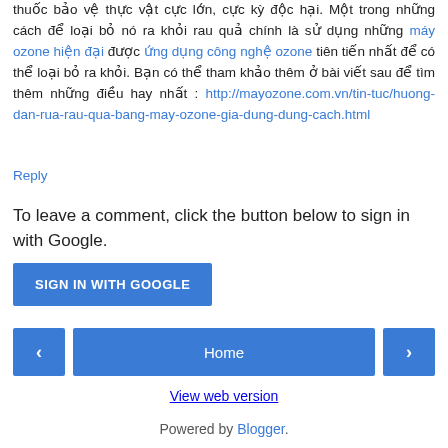thuốc bảo vệ thực vật cực lớn, cực kỳ độc hại. Một trong những cách để loại bỏ nó ra khỏi rau quả chính là sử dụng những máy ozone hiện đại được ứng dụng công nghệ ozone tiên tiến nhất để có thể loại bỏ ra khỏi. Bạn có thể tham khảo thêm ở bài viết sau để tìm thêm những điều hay nhất : http://mayozone.com.vn/tin-tuc/huong-dan-rua-rau-qua-bang-may-ozone-gia-dung-dung-cach.html
Reply
To leave a comment, click the button below to sign in with Google.
SIGN IN WITH GOOGLE
[Figure (other): Navigation bar with left arrow, Home button, and right arrow buttons]
View web version
Powered by Blogger.